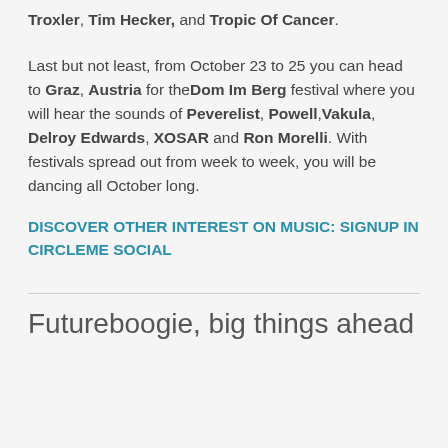Troxler, Tim Hecker, and Tropic Of Cancer.
Last but not least, from October 23 to 25 you can head to Graz, Austria for the Dom Im Berg festival where you will hear the sounds of Peverelist, Powell, Vakula, Delroy Edwards, XOSAR and Ron Morelli. With festivals spread out from week to week, you will be dancing all October long.
DISCOVER OTHER INTEREST ON MUSIC: SIGNUP IN CIRCLEME SOCIAL
Futureboogie, big things ahead